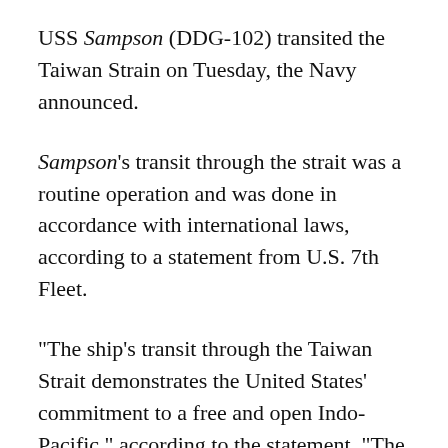USS Sampson (DDG-102) transited the Taiwan Strain on Tuesday, the Navy announced.
Sampson's transit through the strait was a routine operation and was done in accordance with international laws, according to a statement from U.S. 7th Fleet.
“The ship’s transit through the Taiwan Strait demonstrates the United States’ commitment to a free and open Indo-Pacific,” according to the statement. “The United States military flies, sails, and operates anywhere international law allows.”
Last week, sailors aboard Sampson participated